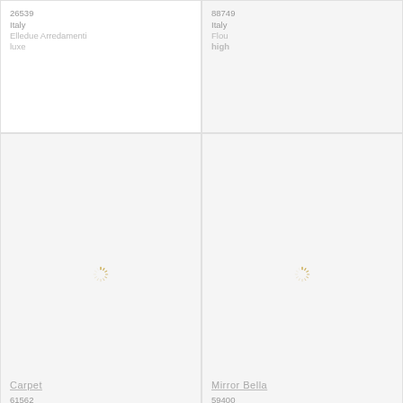26539
Italy
Elledue Arredamenti
luxe
88749
Italy
Flou
high
[Figure (illustration): Loading spinner icon (gold/yellow sunburst) centered in light gray product image cell for Carpet]
Carpet
61562
Italy
Formitalia
exclusive
[Figure (illustration): Loading spinner icon (gold/yellow sunburst) centered in light gray product image cell for Mirror Bella]
Mirror Bella
59400
Italy
Galimberti Nino
luxe
SOLD OUT
[Figure (illustration): Partial loading spinner icon visible at bottom of cell, light gray background]
[Figure (illustration): Partial loading spinner icon visible at bottom of cell, light gray background]